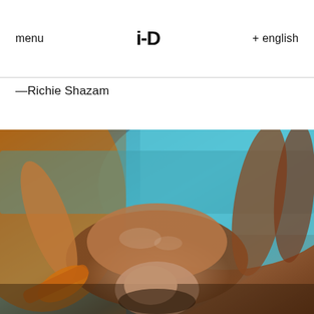menu   i-D   + english
—Richie Shazam
[Figure (photo): A photograph by Richie Shazam showing a figure reclining, lit with warm orange and cool teal/blue tones, bath setting with dramatic colored lighting.]